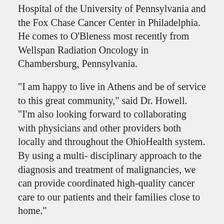Hospital of the University of Pennsylvania and the Fox Chase Cancer Center in Philadelphia. He comes to O'Bleness most recently from Wellspan Radiation Oncology in Chambersburg, Pennsylvania.
“I am happy to live in Athens and be of service to this great community,” said Dr. Howell. “I’m also looking forward to collaborating with physicians and other providers both locally and throughout the OhioHealth system. By using a multi- disciplinary approach to the diagnosis and treatment of malignancies, we can provide coordinated high-quality cancer care to our patients and their families close to home.”
Construction Facts
The addition of radiation oncology was preceded by a major renovation and construction project at O’Bleness that moved Cancer Care and Infusion Services from the main hospital building to the Castrop Center in February of 2017. The move itself was a major milestone, resulting